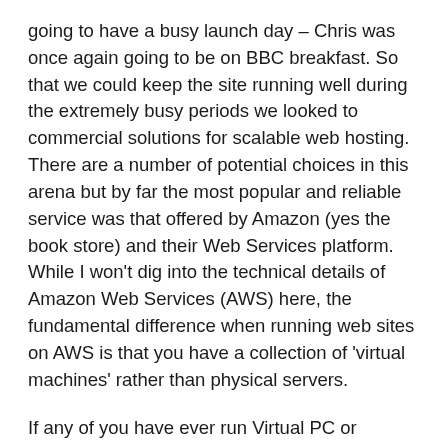going to have a busy launch day – Chris was once again going to be on BBC breakfast. So that we could keep the site running well during the extremely busy periods we looked to commercial solutions for scalable web hosting. There are a number of potential choices in this arena but by far the most popular and reliable service was that offered by Amazon (yes the book store) and their Web Services platform. While I won't dig into the technical details of Amazon Web Services (AWS) here, the fundamental difference when running web sites on AWS is that you have a collection of 'virtual machines' rather than physical servers.
If any of you have ever run Virtual PC or VMWare on your own computer then you'll already realise that using machine virtualisation it's possible to run a number of virtual machines on a single physical computer. This is exactly what AWS do except they do it at a massive scale (millions of virtual machines) and have some fantastic